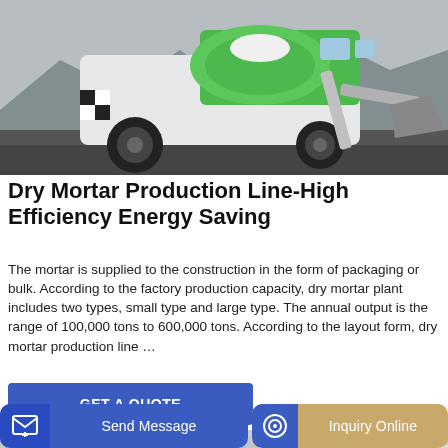[Figure (photo): Green and white self-loading concrete mixer truck on an asphalt surface, with a front-loading bucket attachment, mountains in the background]
Dry Mortar Production Line-High Efficiency Energy Saving
The mortar is supplied to the construction in the form of packaging or bulk. According to the factory production capacity, dry mortar plant includes two types, small type and large type. The annual output is the range of 100,000 tons to 600,000 tons. According to the layout form, dry mortar production line …
GET A QUOTE
[Figure (photo): Partial view of industrial machinery or equipment, gray and white tones]
Send Message
Inquiry Online